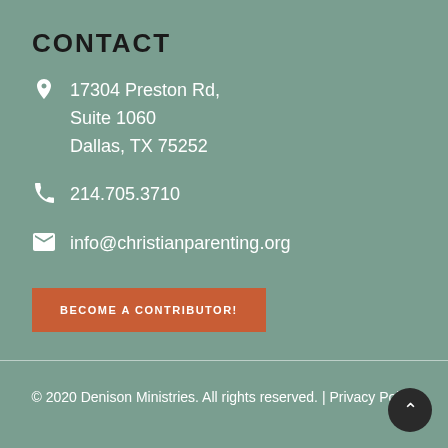CONTACT
17304 Preston Rd,
Suite 1060
Dallas, TX 75252
214.705.3710
info@christianparenting.org
BECOME A CONTRIBUTOR!
© 2020 Denison Ministries. All rights reserved. | Privacy Policy